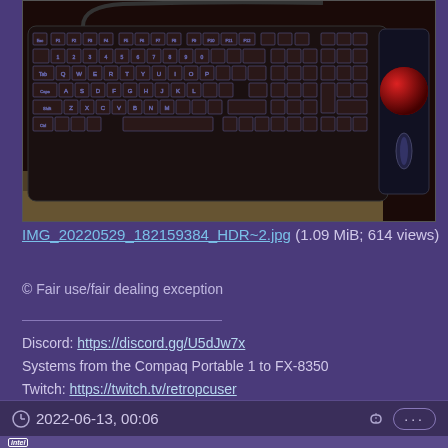[Figure (photo): Photograph of a backlit mechanical keyboard in dark/brown color with a red trackball device on the right side, viewed from above on a desk]
IMG_20220529_182159384_HDR~2.jpg (1.09 MiB; 614 views)
© Fair use/fair dealing exception
Discord: https://discord.gg/U5dJw7x
Systems from the Compaq Portable 1 to FX-8350
Twitch: https://twitch.tv/retropcuser
2022-06-13, 00:06